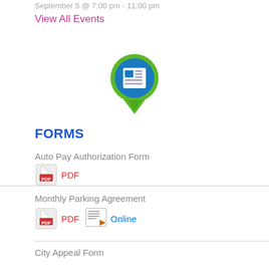September 5 @ 7:00 pm - 11:00 pm
View All Events
[Figure (illustration): Map pin icon with a newspaper/document icon inside, green pin shape with blue circular top]
FORMS
Auto Pay Authorization Form
PDF
Monthly Parking Agreement
PDF   Online
City Appeal Form